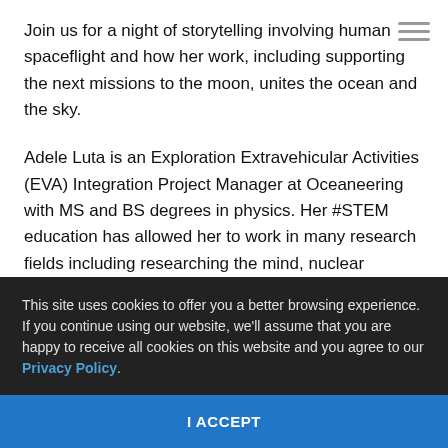Join us for a night of storytelling involving human spaceflight and how her work, including supporting the next missions to the moon, unites the ocean and the sky.
Adele Luta is an Exploration Extravehicular Activities (EVA) Integration Project Manager at Oceaneering with MS and BS degrees in physics. Her #STEM education has allowed her to work in many research fields including researching the mind, nuclear physics, and
This site uses cookies to offer you a better browsing experience. If you continue using our website, we'll assume that you are happy to receive all cookies on this website and you agree to our Privacy Policy.
I ACCEPT